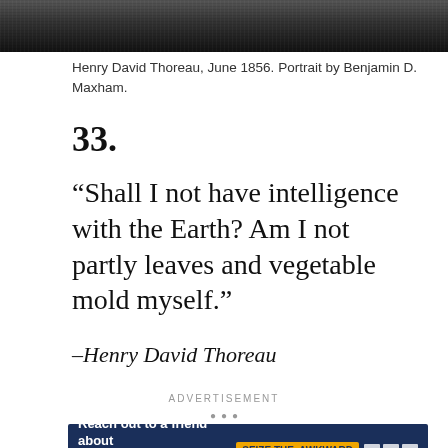[Figure (photo): Grayscale portrait photograph of Henry David Thoreau cropped to show top portion of face and shoulders]
Henry David Thoreau, June 1856. Portrait by Benjamin D. Maxham.
33.
“Shall I not have intelligence with the Earth? Am I not partly leaves and vegetable mold myself.”
–Henry David Thoreau